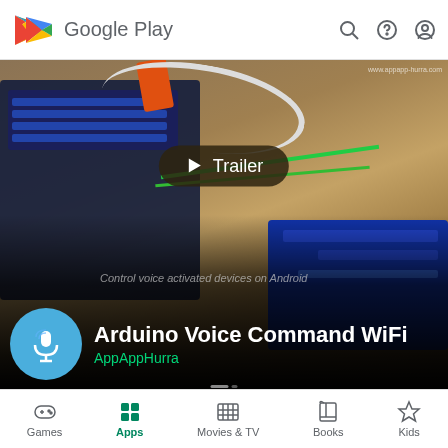Google Play
[Figure (screenshot): Google Play store page for 'Arduino Voice Command WiFi' app by AppAppHurra. Shows an Arduino circuit board photo with a Trailer play button overlay. App icon is a blue circle with a microphone. Subtitle: Control voice activated devices on Android.]
Arduino Voice Command WiFi
AppAppHurra
Games  Apps  Movies & TV  Books  Kids